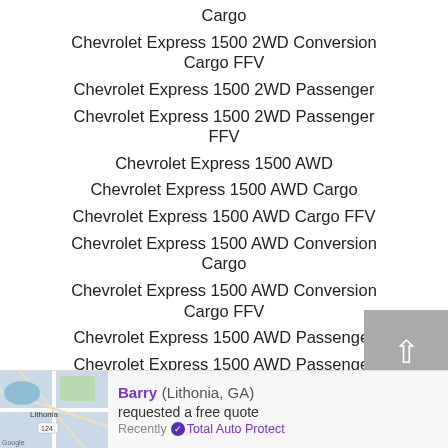Cargo
Chevrolet Express 1500 2WD Conversion Cargo FFV
Chevrolet Express 1500 2WD Passenger
Chevrolet Express 1500 2WD Passenger FFV
Chevrolet Express 1500 AWD
Chevrolet Express 1500 AWD Cargo
Chevrolet Express 1500 AWD Cargo FFV
Chevrolet Express 1500 AWD Conversion Cargo
Chevrolet Express 1500 AWD Conversion Cargo FFV
Chevrolet Express 1500 AWD Passenger
Chevrolet Express 1500 AWD Passenger
Barry (Lithonia, GA) requested a free quote Recently ✓ Total Auto Protect